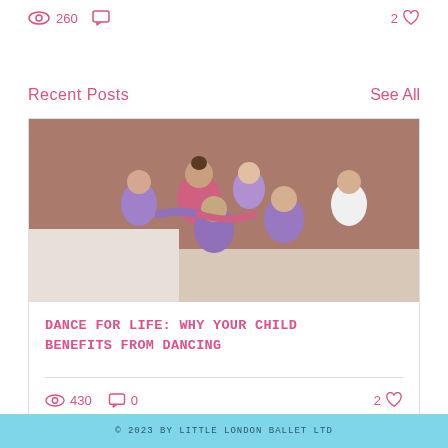260 views, 0 comments, 2 likes
Recent Posts    See All
[Figure (photo): A dance teacher in a pink leotard surrounded by young children in purple ballet outfits in a studio with a brick wall background]
DANCE FOR LIFE: WHY YOUR CHILD BENEFITS FROM DANCING
430 views  0 comments  2 likes
© 2023 BY LITTLE LONDON BALLET LTD